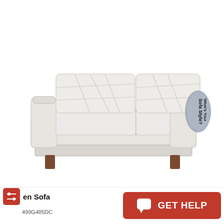[Figure (photo): White leather two-seat sofa with diamond-quilted back cushions and dark wooden legs, shown on white background. A 'What's Your Sofa Style?' badge appears in the upper right area.]
en Sofa
499G485DC
[Figure (other): GET HELP button with chat icon on red background]